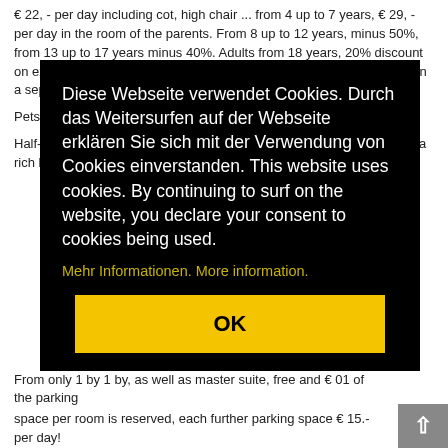€ 22, - per day including cot, high chair ... from 4 up to 7 years, € 29, - per day in the room of the parents.  From 8 up to 12 years, minus 50%, from 13 up to 17 years minus 40%. Adults from 18 years, 20% discount on extra bed! Children up to the 16th birthday receive a 20% discount in a separate room.
Pets on request!
Half-board prices are per person per day. Our half-board comprises of a rich breakfast buffet, from 4 ...
[Figure (screenshot): Cookie consent modal overlay with black background. German and English text explaining cookie usage. Yellow 'OK' button at bottom. Text reads: 'Diese Webseite verwendet Cookies. Durch das Weitersurfen auf der Webseite erklären Sie sich mit der Verwendung von Cookies einverstanden. This website uses cookies. By continuing to surf on the website, you declare your consent to cookies being used.' Followed by 'Mehr Informationen. More information.' in yellow/gold color.]
space per room is reserved, each further parking space € 15.- per day!